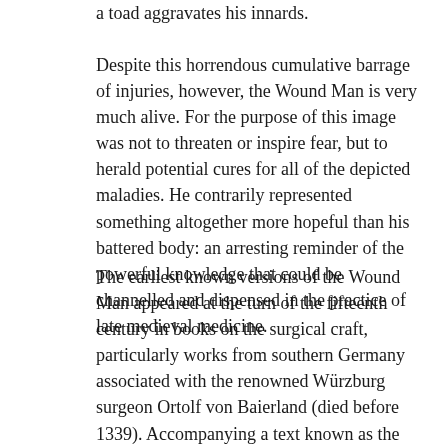a toad aggravates his innards.
Despite this horrendous cumulative barrage of injuries, however, the Wound Man is very much alive. For the purpose of this image was not to threaten or inspire fear, but to herald potential cures for all of the depicted maladies. He contrarily represented something altogether more hopeful than his battered body: an arresting reminder of the powerful knowledge that could be channelled and dispensed in the practice of late medieval medicine.
The earliest known versions of the Wound Man appeared at the turn of the fifteenth century in books on the surgical craft, particularly works from southern Germany associated with the renowned Würzburg surgeon Ortolf von Baierland (died before 1339). Accompanying a text known as the “Wundarznei” (The Surgery), these first Wound Men effectively functioned as a human table of